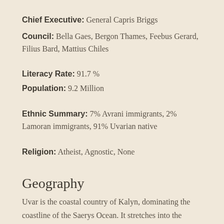Chief Executive: General Capris Briggs
Council: Bella Gaes, Bergon Thames, Feebus Gerard, Filius Bard, Mattius Chiles
Literacy Rate: 91.7%
Population: 9.2 Million
Ethnic Summary: 7% Avrani immigrants, 2% Lamoran immigrants, 91% Uvarian native
Religion: Atheist, Agnostic, None
Geography
Uvar is the coastal country of Kalyn, dominating the coastline of the Saerys Ocean. It stretches into the Red Sands in the South and shares a small border